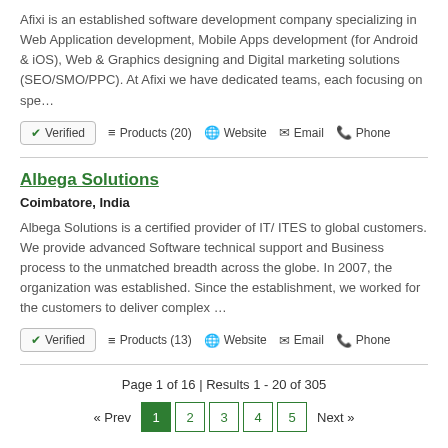Afixi is an established software development company specializing in Web Application development, Mobile Apps development (for Android & iOS), Web & Graphics designing and Digital marketing solutions (SEO/SMO/PPC). At Afixi we have dedicated teams, each focusing on spe…
✔ Verified   ≡ Products (20)   🌐 Website   ✉ Email   📞 Phone
Albega Solutions
Coimbatore, India
Albega Solutions is a certified provider of IT/ ITES to global customers. We provide advanced Software technical support and Business process to the unmatched breadth across the globe. In 2007, the organization was established. Since the establishment, we worked for the customers to deliver complex …
✔ Verified   ≡ Products (13)   🌐 Website   ✉ Email   📞 Phone
Page 1 of 16 | Results 1 - 20 of 305
« Prev  1  2  3  4  5  Next »